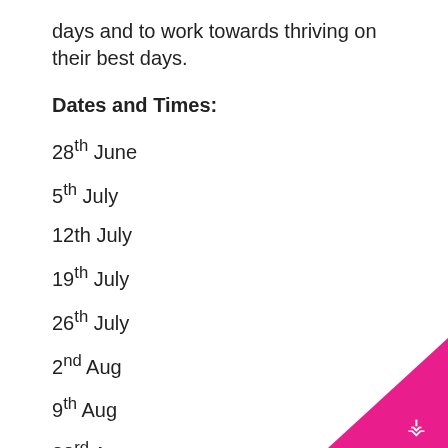days and to work towards thriving on their best days.
Dates and Times:
28th June
5th July
12th July
19th July
26th July
2nd Aug
9th Aug
23rd Aug